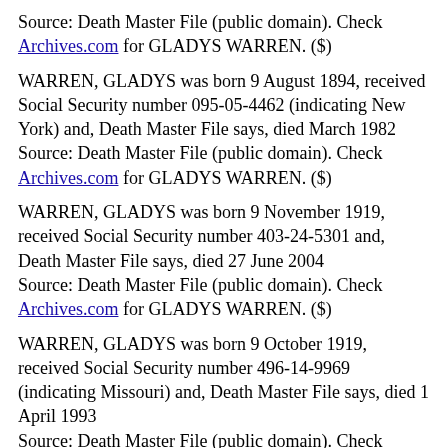Source: Death Master File (public domain). Check Archives.com for GLADYS WARREN. ($)
WARREN, GLADYS was born 9 August 1894, received Social Security number 095-05-4462 (indicating New York) and, Death Master File says, died March 1982
Source: Death Master File (public domain). Check Archives.com for GLADYS WARREN. ($)
WARREN, GLADYS was born 9 November 1919, received Social Security number 403-24-5301 and, Death Master File says, died 27 June 2004
Source: Death Master File (public domain). Check Archives.com for GLADYS WARREN. ($)
WARREN, GLADYS was born 9 October 1919, received Social Security number 496-14-9969 (indicating Missouri) and, Death Master File says, died 1 April 1993
Source: Death Master File (public domain). Check